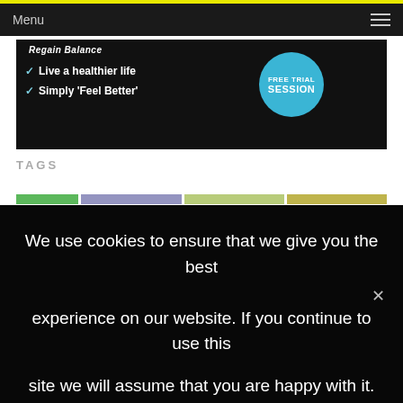Menu
[Figure (illustration): Health/fitness promotional banner with black background showing checkmarks next to 'Live a healthier life' and 'Simply Feel Better', with a blue circle badge reading 'FREE TRIAL SESSION']
TAGS
We use cookies to ensure that we give you the best experience on our website. If you continue to use this site we will assume that you are happy with it.
Ok, Sure
Privacy Policy